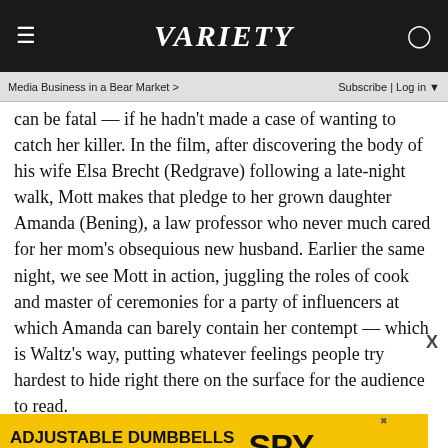VARIETY
Media Business in a Bear Market > | Subscribe | Log in
can be fatal — if he hadn't made a case of wanting to catch her killer. In the film, after discovering the body of his wife Elsa Brecht (Redgrave) following a late-night walk, Mott makes that pledge to her grown daughter Amanda (Bening), a law professor who never much cared for her mom's obsequious new husband. Earlier the same night, we see Mott in action, juggling the roles of cook and master of ceremonies for a party of influencers at which Amanda can barely contain her contempt — which is Waltz's way, putting whatever feelings people try hardest to hide right there on the surface for the audience to read.
Movies aren't obliged to be realistic, of course, although "Georgetown" stops just a whisker short of having everyone Mott...
[Figure (other): Advertisement banner: ADJUSTABLE DUMBBELLS SPY TESTED & REVIEWED on yellow background with SPY logo]